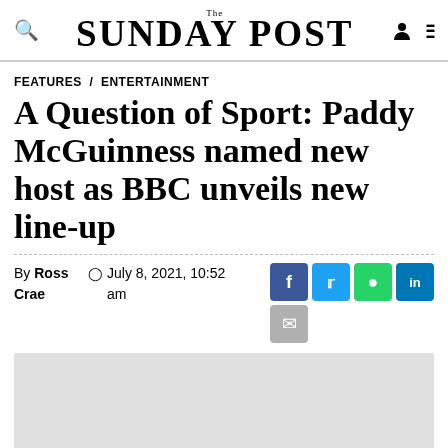The Sunday Post
FEATURES / ENTERTAINMENT
A Question of Sport: Paddy McGuinness named new host as BBC unveils new line-up
By Ross Crae  July 8, 2021, 10:52 am
[Figure (photo): Article image placeholder (light grey box)]